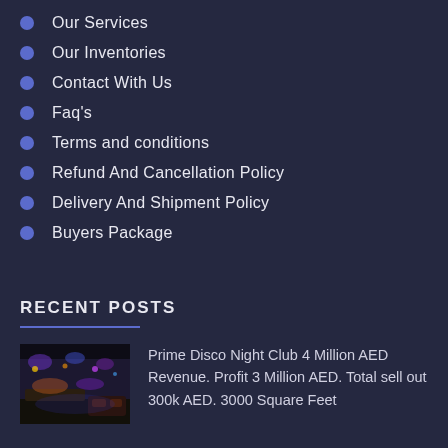Our Services
Our Inventories
Contact With Us
Faq's
Terms and conditions
Refund And Cancellation Policy
Delivery And Shipment Policy
Buyers Package
RECENT POSTS
[Figure (photo): Interior of a disco night club with colorful lights and seating]
Prime Disco Night Club 4 Million AED Revenue. Profit 3 Million AED. Total sell out 300k AED. 3000 Square Feet